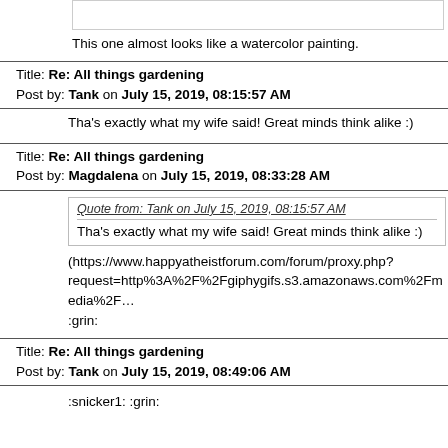[Figure (other): Top image box (partially visible, cropped at top)]
This one almost looks like a watercolor painting.
Title: Re: All things gardening
Post by: Tank on July 15, 2019, 08:15:57 AM
Tha's exactly what my wife said! Great minds think alike :)
Title: Re: All things gardening
Post by: Magdalena on July 15, 2019, 08:33:28 AM
Quote from: Tank on July 15, 2019, 08:15:57 AM
Tha's exactly what my wife said! Great minds think alike :)
(https://www.happyatheistforum.com/forum/proxy.php?request=http%3A%2F%2Fgiphygifs.s3.amazonaws.com%2Fmedia%2F
:grin:
Title: Re: All things gardening
Post by: Tank on July 15, 2019, 08:49:06 AM
:snicker1: :grin: